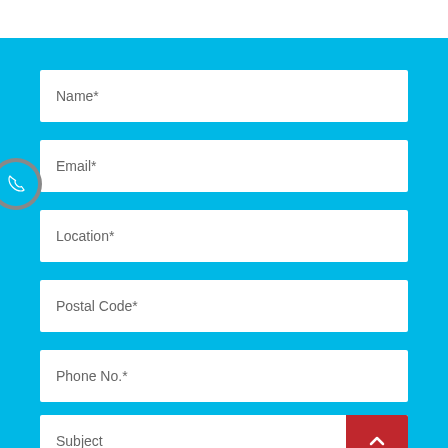[Figure (screenshot): Contact form with fields: Name*, Email*, Location*, Postal Code*, Phone No.*, Subject, on a cyan background with a phone icon button on the left side and a red scroll-up button]
Name*
Email*
Location*
Postal Code*
Phone No.*
Subject